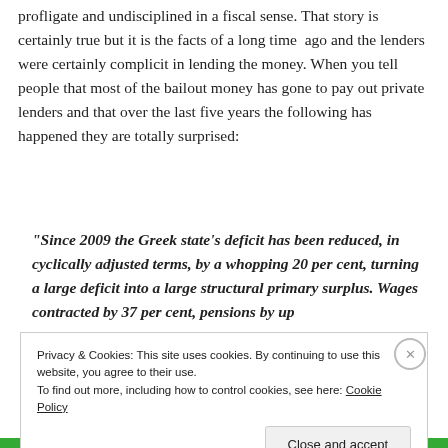profligate and undisciplined in a fiscal sense. That story is certainly true but it is the facts of a long time ago and the lenders were certainly complicit in lending the money. When you tell people that most of the bailout money has gone to pay out private lenders and that over the last five years the following has happened they are totally surprised:
“Since 2009 the Greek state’s deficit has been reduced, in cyclically adjusted terms, by a whopping 20 per cent, turning a large deficit into a large structural primary surplus. Wages contracted by 37 per cent, pensions by up
Privacy & Cookies: This site uses cookies. By continuing to use this website, you agree to their use.
To find out more, including how to control cookies, see here: Cookie Policy
Close and accept